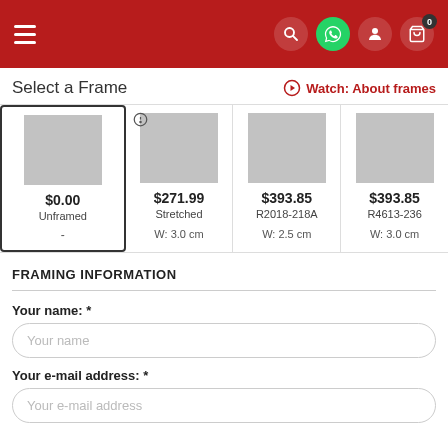Navigation header with menu, search, WhatsApp, account, and cart icons
Select a Frame
Watch: About frames
| Option 1 | Option 2 | Option 3 | Option 4 |
| --- | --- | --- | --- |
| $0.00 | $271.99 | $393.85 | $393.85 |
| Unframed | Stretched | R2018-218A | R4613-236 |
| - | W: 3.0 cm | W: 2.5 cm | W: 3.0 cm |
FRAMING INFORMATION
Your name: *
Your name (input placeholder)
Your e-mail address: *
Your e-mail address (input placeholder)